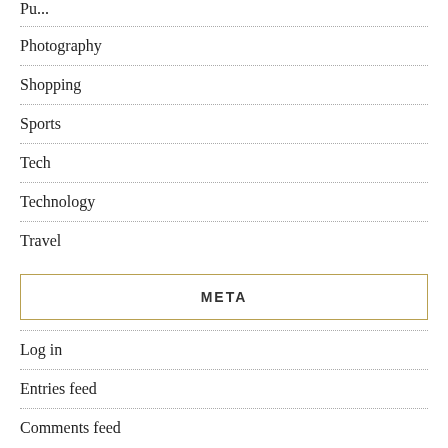Photography
Shopping
Sports
Tech
Technology
Travel
META
Log in
Entries feed
Comments feed